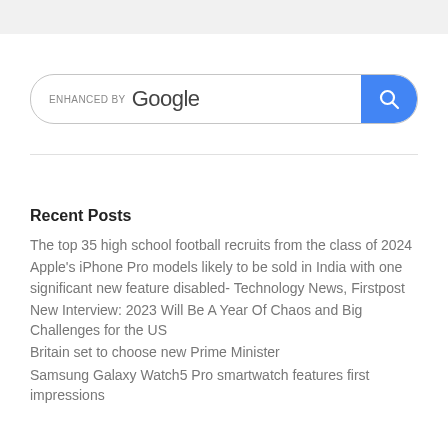[Figure (screenshot): Google enhanced search bar with blue search button containing a magnifying glass icon]
Recent Posts
The top 35 high school football recruits from the class of 2024
Apple's iPhone Pro models likely to be sold in India with one significant new feature disabled- Technology News, Firstpost
New Interview: 2023 Will Be A Year Of Chaos and Big Challenges for the US
Britain set to choose new Prime Minister
Samsung Galaxy Watch5 Pro smartwatch features first impressions